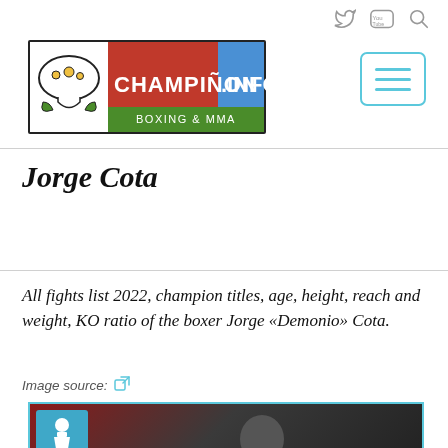Social icons (Twitter, YouTube, Search)
[Figure (logo): Champiñon.info Boxing & MMA logo — green/red/blue banner with mushroom mascot]
Jorge Cota
All fights list 2022, champion titles, age, height, reach and weight, KO ratio of the boxer Jorge «Demonio» Cota.
Image source:
[Figure (photo): Photo of boxer Jorge Cota, man with dark hair, dark background]